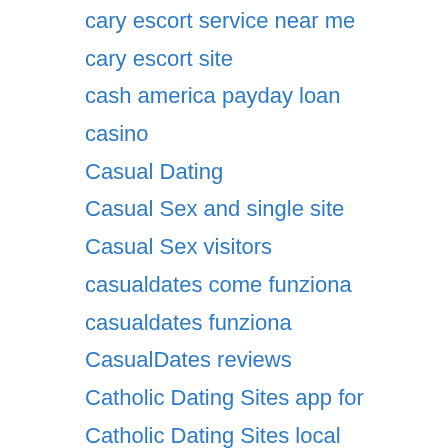cary escort service near me
cary escort site
cash america payday loan
casino
Casual Dating
Casual Sex and single site
Casual Sex visitors
casualdates come funziona
casualdates funziona
CasualDates reviews
Catholic Dating Sites app for
Catholic Dating Sites local
catholic singles kosten
catholic singles login
catholic singles web